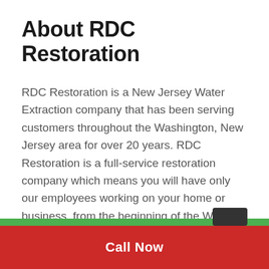About RDC Restoration
RDC Restoration is a New Jersey Water Extraction company that has been serving customers throughout the Washington, New Jersey area for over 20 years. RDC Restoration is a full-service restoration company which means you will have only our employees working on your home or business, from the beginning of the Water Extraction restoration process until re-construction is complete.
Call Now